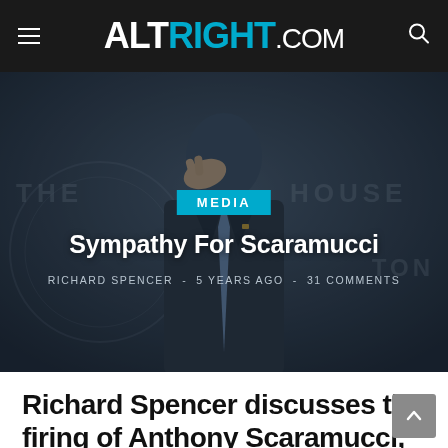ALTRIGHT.COM
[Figure (photo): Man in dark suit at White House briefing room podium, hand raised to mouth, with 'THE WHITE HOUSE' text visible in background. Dark overlay applied.]
Sympathy For Scaramucci
RICHARD SPENCER - 5 YEARS AGO - 31 COMMENTS
Richard Spencer discusses the firing of Anthony Scaramucci,